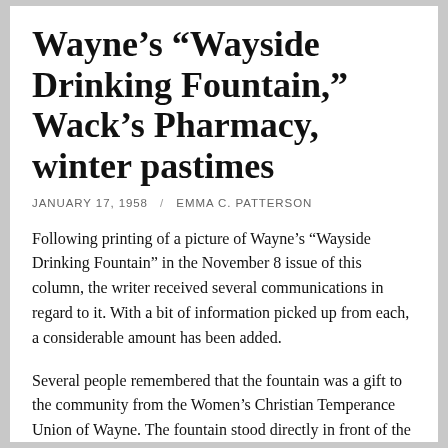Wayne's “Wayside Drinking Fountain,” Wack’s Pharmacy, winter pastimes
JANUARY 17, 1958 / EMMA C. PATTERSON
Following printing of a picture of Wayne’s “Wayside Drinking Fountain” in the November 8 issue of this column, the writer received several communications in regard to it. With a bit of information picked up from each, a considerable amount has been added.
Several people remembered that the fountain was a gift to the community from the Women’s Christian Temperance Union of Wayne. The fountain stood directly in front of the present Wack Pharmacy, then owned and operated by Dr.